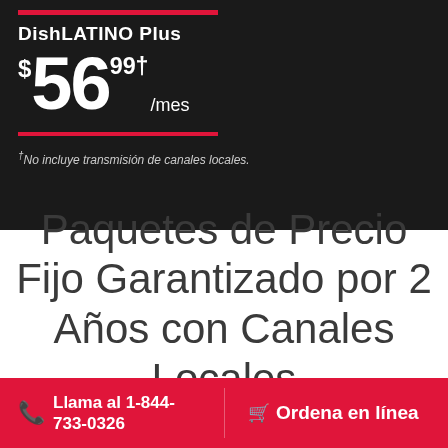DishLATINO Plus $56.99† /mes
†No incluye transmisión de canales locales.
Paquetes de Precio Fijo Garantizado por 2 Años con Canales Locales
Llama al 1-844-733-0326
Ordena en línea